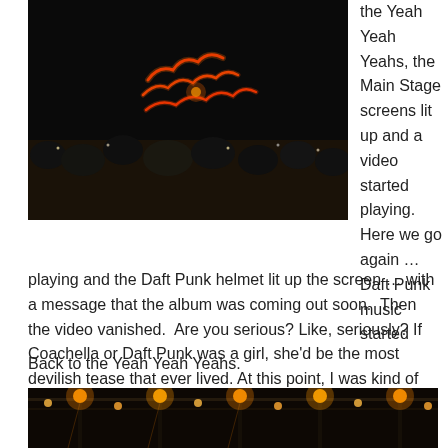[Figure (photo): Concert crowd photo at night with neon red cursive text signage (Random Access Memories) illuminated against a dark background, people visible in foreground.]
the Yeah Yeah Yeahs, the Main Stage screens lit up and a video started playing.  Here we go again … Daft Punk music started playing and the Daft Punk helmet lit up the screen … with a message that the album was coming out soon.  Then the video vanished.  Are you serious? Like, seriously? If Coachella or Daft Punk was a girl, she'd be the most devilish tease that ever lived. At this point, I was kind of over it.
Back to the Yeah Yeah Yeahs.
[Figure (photo): Concert stage photo showing warm amber/orange lights and rigging equipment illuminated against dark background.]